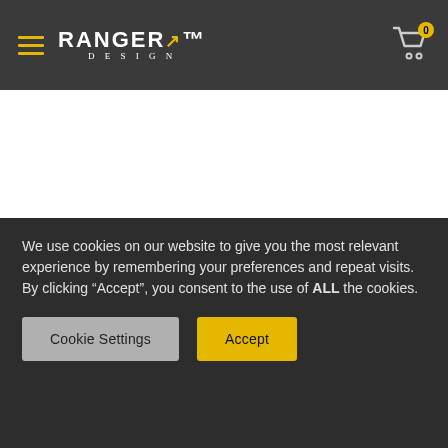[Figure (logo): Ranger Design logo with hamburger menu icon on dark grey header bar, with shopping cart icon and badge showing 0 on right]
PRODUCTS BY VEHICLE
PRODUCT CATEGORIES
BrightDrop
Ford Transit
Ford Transit Connect
Ford E-Series
Shelving
Storage Units
Fold-Away Shelving
Drawers
We use cookies on our website to give you the most relevant experience by remembering your preferences and repeat visits. By clicking “Accept”, you consent to the use of ALL the cookies.
Cookie Settings
Accept